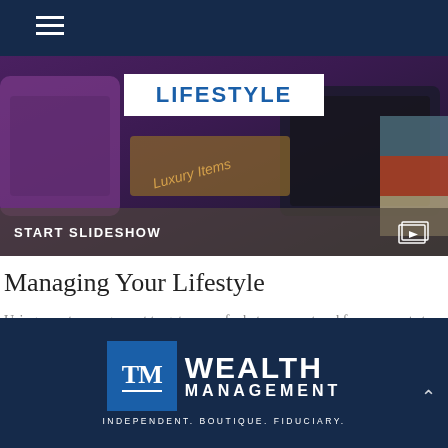Navigation bar with hamburger menu
[Figure (screenshot): Hero image showing lifestyle items (phone, luxury goods) with a white banner reading LIFESTYLE and a dark overlay bar at bottom reading START SLIDESHOW with a slideshow icon]
Managing Your Lifestyle
Using smart management to get more of what you want and free up assets to invest.
[Figure (logo): TM Wealth Management logo with blue TM box, WEALTH MANAGEMENT text in white on navy background, tagline: INDEPENDENT. BOUTIQUE. FIDUCIARY.]